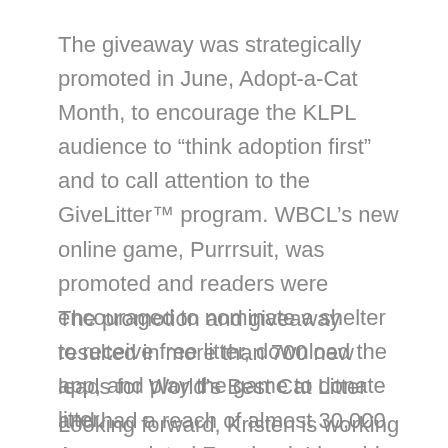The giveaway was strategically promoted in June, Adopt-a-Cat Month, to encourage the KLPL audience to “think adoption first” and to call attention to the GiveLitter™ program. WBCL’s new online game, Purrrsuit, was promoted and readers were encouraged to nominate a shelter to receive free litter, download the app, and play the game to donate litter.
The promotion and giveaway resulted in more than 700 new leads for World’s Best Cat Litter and had a reach of almost 30,000. An associated Facebook Live video generated over 500 views.
Looking forward, Kristen is working on more ways to